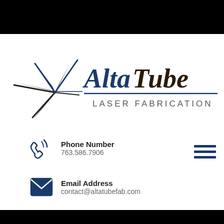[Figure (logo): Alta Tube Laser Fabrication company logo with star/burst graphic icon in black, company name 'Alta Tube' in blue and dark brown bold italic text, and 'LASER FABRICATION' in dark gray spaced capitals below a blue horizontal rule line.]
Phone Number
763.586.7906
Email Address
contact@altatubefab.com